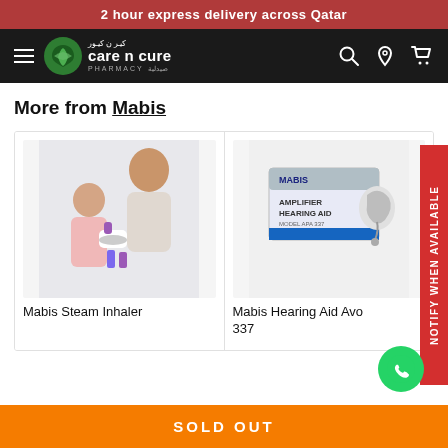2 hour express delivery across Qatar
[Figure (logo): Care N Cure Pharmacy logo with navigation bar on dark background]
More from Mabis
[Figure (photo): Woman helping child use a steam inhaler nebulizer device]
Mabis Steam Inhaler
[Figure (photo): Mabis Amplifier Hearing Aid product box with device]
Mabis Hearing Aid Avo 337
NOTIFY WHEN AVAILABLE
SOLD OUT